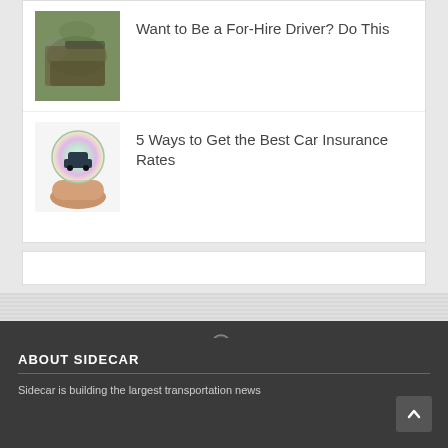[Figure (photo): Thumbnail image of a driver's hands on a steering wheel, green/brown tones]
Want to Be a For-Hire Driver? Do This
[Figure (illustration): Thumbnail image of a hand holding a glowing orb with a car silhouette inside]
5 Ways to Get the Best Car Insurance Rates
[Figure (other): Search icon (magnifying glass) in dark bar]
ABOUT SIDECAR
Sidecar is building the largest transportation news